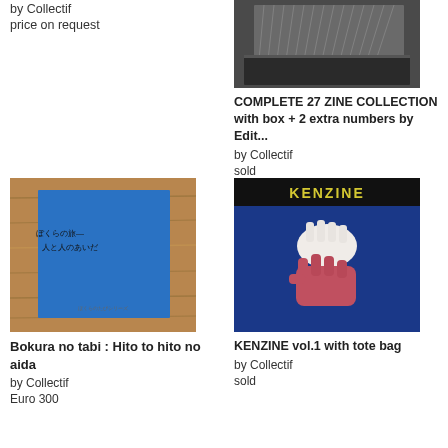by Collectif
price on request
[Figure (photo): Black zine/book collection box seen from angle, showing multiple volumes in a dark slipcase]
COMPLETE 27 ZINE COLLECTION with box + 2 extra numbers by Edit...
by Collectif
sold
[Figure (photo): Blue booklet on wooden surface with Japanese text on cover]
Bokura no tabi : Hito to hito no aida
by Collectif
Euro 300
[Figure (photo): KENZINE magazine cover with yellow text on dark background, showing two hands (white and pink) making gestures against blue background]
KENZINE vol.1 with tote bag
by Collectif
sold